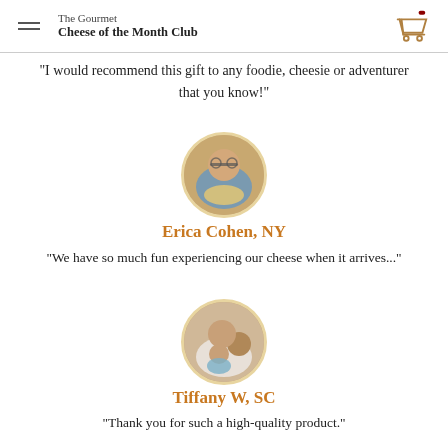The Gourmet Cheese of the Month Club
"I would recommend this gift to any foodie, cheesie or adventurer that you know!"
[Figure (photo): Circular profile photo of Erica Cohen]
Erica Cohen, NY
"We have so much fun experiencing our cheese when it arrives..."
[Figure (photo): Circular profile photo of Tiffany W with child]
Tiffany W, SC
"Thank you for such a high-quality product."
[Figure (photo): Circular profile photo partially visible at bottom of page]